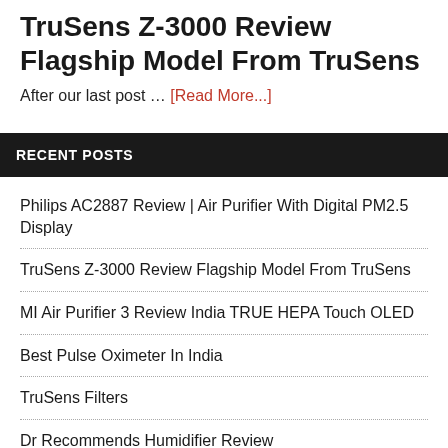TruSens Z-3000 Review Flagship Model From TruSens
After our last post … [Read More...]
RECENT POSTS
Philips AC2887 Review | Air Purifier With Digital PM2.5 Display
TruSens Z-3000 Review Flagship Model From TruSens
MI Air Purifier 3 Review India TRUE HEPA Touch OLED
Best Pulse Oximeter In India
TruSens Filters
Dr Recommends Humidifier Review